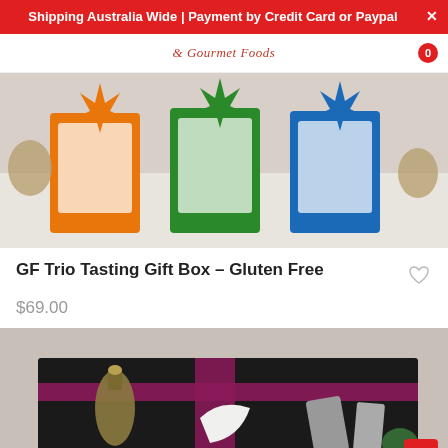Shipping Australia Wide | Payment by Credit Card or Paypal
[Figure (photo): Product photo of GF Trio Tasting Gift Box showing three gift boxes with orange, green and blue star-burst ribbon decorations on a white surface]
GF Trio Tasting Gift Box – Gluten Free
$69.00
[Figure (photo): Product photo showing a black gift box with a magenta/maroon ribbon, containing a bottle and various gourmet food items]